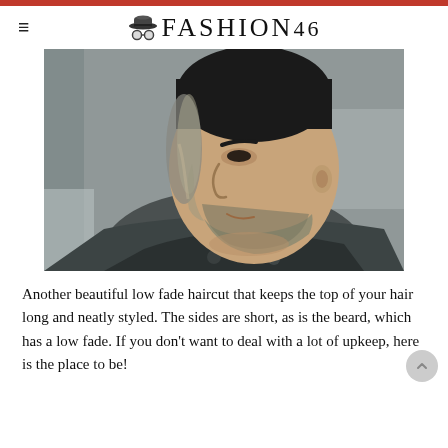≡ 🎩👓 FASHION46
[Figure (photo): Side profile of a man at a barbershop showing a low fade haircut with the top hair long and neatly styled, and a short faded beard. The man is wearing a barber cape.]
Another beautiful low fade haircut that keeps the top of your hair long and neatly styled. The sides are short, as is the beard, which has a low fade. If you don't want to deal with a lot of upkeep, here is the place to be!